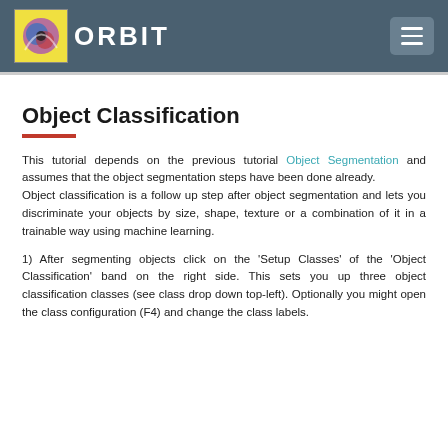ORBIT
Object Classification
This tutorial depends on the previous tutorial Object Segmentation and assumes that the object segmentation steps have been done already. Object classification is a follow up step after object segmentation and lets you discriminate your objects by size, shape, texture or a combination of it in a trainable way using machine learning.
1) After segmenting objects click on the ‘Setup Classes’ of the ‘Object Classification’ band on the right side. This sets you up three object classification classes (see class drop down top-left). Optionally you might open the class configuration (F4) and change the class labels.